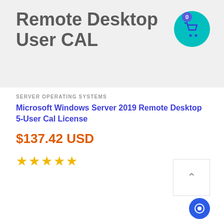Remote Desktop User CAL
SERVER OPERATING SYSTEMS
Microsoft Windows Server 2019 Remote Desktop 5-User Cal License
$137.42 USD
[Figure (other): Five gold star rating icons]
[Figure (other): Scroll to top button with upward chevron arrow]
[Figure (other): Blue circular chat button at bottom right]